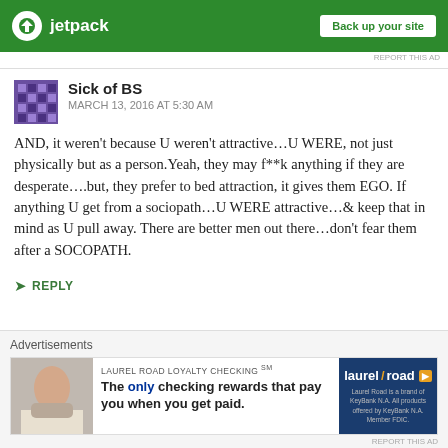[Figure (other): Jetpack advertisement banner with green background, logo and 'Back up your site' button]
REPORT THIS AD
Sick of BS
MARCH 13, 2016 AT 5:30 AM
AND, it weren't because U weren't attractive…U WERE, not just physically but as a person.Yeah, they may f**k anything if they are desperate….but, they prefer to bed attraction, it gives them EGO. If anything U get from a sociopath…U WERE attractive…& keep that in mind as U pull away. There are better men out there…don't fear them after a SOCOPATH.
REPLY
Advertisements
[Figure (other): Laurel Road Loyalty Checking advertisement banner]